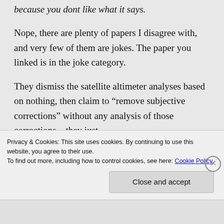because you dont like what it says.
Nope, there are plenty of papers I disagree with, and very few of them are jokes. The paper you linked is in the joke category.
They dismiss the satellite altimeter analyses based on nothing, then claim to “remove subjective corrections” without any analysis of those corrections – they just
Privacy & Cookies: This site uses cookies. By continuing to use this website, you agree to their use.
To find out more, including how to control cookies, see here: Cookie Policy
Close and accept